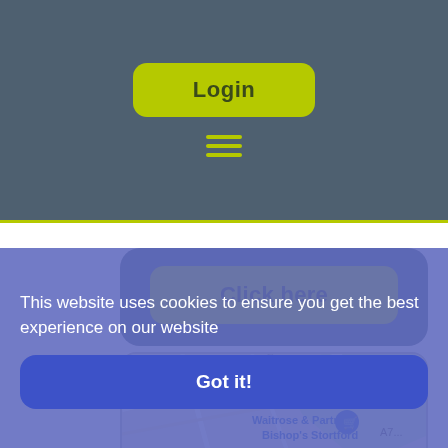[Figure (screenshot): Navigation bar with Login button (yellow-green, rounded) and hamburger menu icon (three horizontal lines in yellow-green) on dark slate blue background]
[Figure (screenshot): Dark rounded card with a yellow-green 'Click here' button centered on it]
[Figure (map): Google Maps screenshot showing Waitrose & Partners Bishop's Stortford location with roads including Pantry Rd and B1004]
This website uses cookies to ensure you get the best experience on our website
[Figure (screenshot): Got it! button in dark blue rounded rectangle on the cookie consent banner]